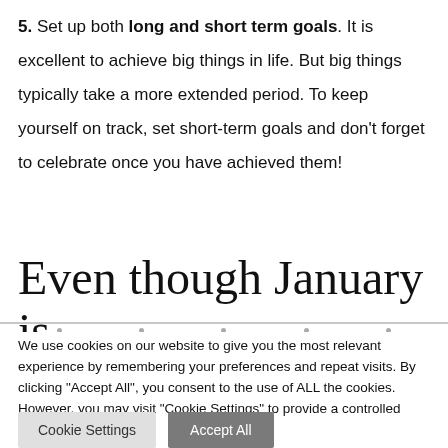5. Set up both long and short term goals. It is excellent to achieve big things in life. But big things typically take a more extended period. To keep yourself on track, set short-term goals and don't forget to celebrate once you have achieved them!
Even though January is
We use cookies on our website to give you the most relevant experience by remembering your preferences and repeat visits. By clicking "Accept All", you consent to the use of ALL the cookies. However, you may visit "Cookie Settings" to provide a controlled consent.